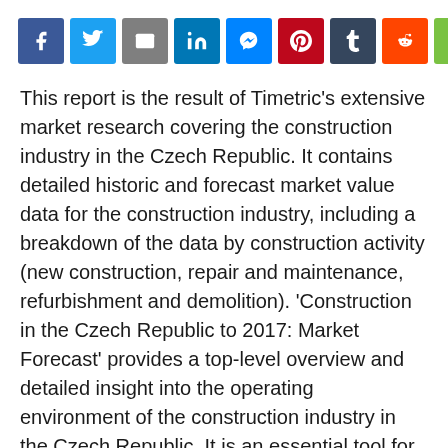[Figure (other): Social share buttons row: Facebook, Twitter, Email, LinkedIn, Messenger, Pinterest, Tumblr, Reddit, ShareThis]
This report is the result of Timetric's extensive market research covering the construction industry in the Czech Republic. It contains detailed historic and forecast market value data for the construction industry, including a breakdown of the data by construction activity (new construction, repair and maintenance, refurbishment and demolition). 'Construction in the Czech Republic to 2017: Market Forecast' provides a top-level overview and detailed insight into the operating environment of the construction industry in the Czech Republic. It is an essential tool for companies active across the Czech Republic construction value chain and for